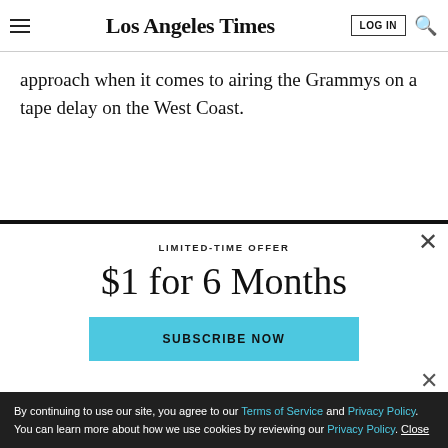Los Angeles Times
approach when it comes to airing the Grammys on a tape delay on the West Coast.
LIMITED-TIME OFFER
$1 for 6 Months
SUBSCRIBE NOW
By continuing to use our site, you agree to our Terms of Service and Privacy Policy. You can learn more about how we use cookies by reviewing our Privacy Policy. Close